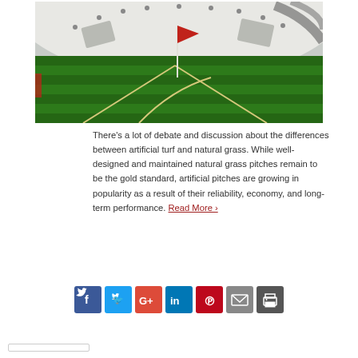[Figure (photo): Indoor artificial turf football pitch with white corner arc markings, a red corner flag, and a large white dome roof with hanging lights and decorative black stripe elements.]
There’s a lot of debate and discussion about the differences between artificial turf and natural grass. While well-designed and maintained natural grass pitches remain to be the gold standard, artificial pitches are growing in popularity as a result of their reliability, economy, and long-term performance. Read More ›
[Figure (infographic): Social media sharing icons: Facebook, Twitter, Google+, LinkedIn, Pinterest, Email, Print]